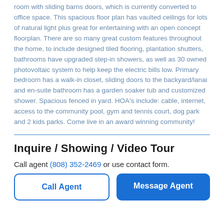room with sliding barns doors, which is currently converted to office space. This spacious floor plan has vaulted ceilings for lots of natural light plus great for entertaining with an open concept floorplan. There are so many great custom features throughout the home, to include designed tiled flooring, plantation shutters, bathrooms have upgraded step-in showers, as well as 30 owned photovoltaic system to help keep the electric bills low. Primary bedroom has a walk-in closet, sliding doors to the backyard/lanai and en-suite bathroom has a garden soaker tub and customized shower. Spacious fenced in yard. HOA's include: cable, internet, access to the community pool, gym and tennis court, dog park and 2 kids parks. Come live in an award winning community!
Inquire / Showing / Video Tour
Call agent (808) 352-2469 or use contact form.
Call Agent | Message Agent